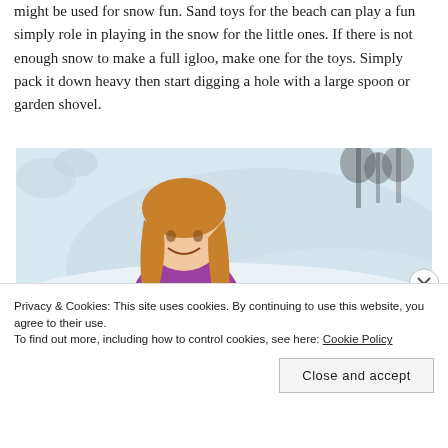might be used for snow fun. Sand toys for the beach can play a fun simply role in playing in the snow for the little ones. If there is not enough snow to make a full igloo, make one for the toys. Simply pack it down heavy then start digging a hole with a large spoon or garden shovel.
[Figure (photo): A young girl with long brown hair, wearing a purple jacket, smiling at the camera in a snowy outdoor setting with snow-covered trees in the background.]
Privacy & Cookies: This site uses cookies. By continuing to use this website, you agree to their use.
To find out more, including how to control cookies, see here: Cookie Policy